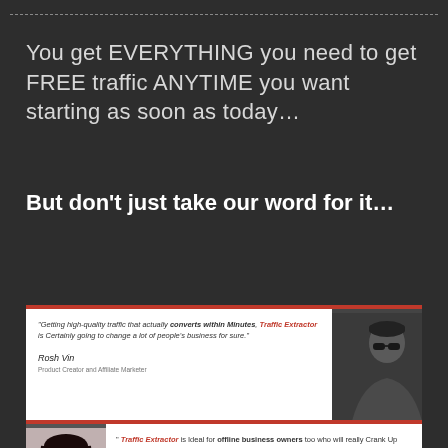You get EVERYTHING you need to get FREE traffic ANYTIME you want starting as soon as today…
But don't just take our word for it…
[Figure (photo): Testimonial card with white background and red top border. Text: 'Getting high-quality traffic that actually converts within Minutes, Traffic Extractor is Certainly going to change a lot of people's business for sure.' Attributed to Rosh Vin, Product Creator and Affiliate Marketer. Photo of a man wearing a black beanie and sunglasses on the right side.]
[Figure (photo): Partially visible testimonial card with white background and red top border. Photo of a woman with dark hair on the left. Text: 'Traffic Extractor is Ideal for offline business owners too who will really Crank Up their Traffic quality and Quantity in No time, Great… free software and training']